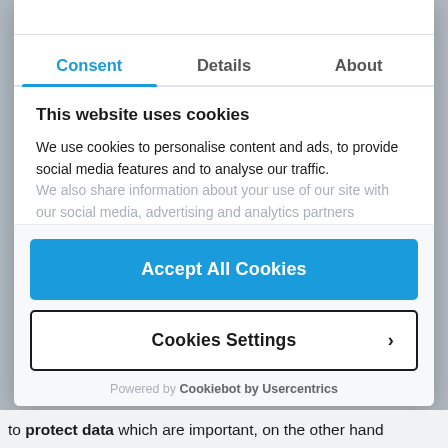Consent | Details | About
This website uses cookies
We use cookies to personalise content and ads, to provide social media features and to analyse our traffic. We also share information about your use of our site with our social media, advertising and analytics partners
Accept All Cookies
Cookies Settings
Powered by Cookiebot by Usercentrics
to protect data which are important, on the other hand